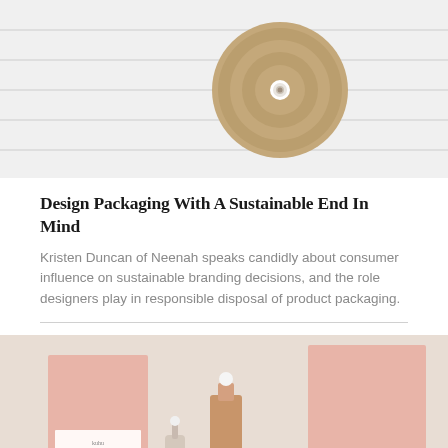[Figure (photo): Close-up photo of a circular cork/kraft paper disc fastener on a white striped surface, view from above]
Design Packaging With A Sustainable End In Mind
Kristen Duncan of Neenah speaks candidly about consumer influence on sustainable branding decisions, and the role designers play in responsible disposal of product packaging.
[Figure (photo): Photo of pink/blush cosmetic product packaging boxes and dropper bottles arranged on a beige background, with 'kuhu' brand labels]